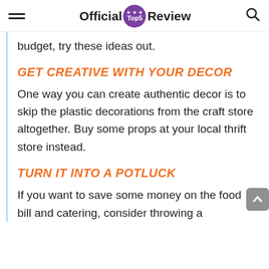Official Top5 Review
budget, try these ideas out.
GET CREATIVE WITH YOUR DECOR
One way you can create authentic decor is to skip the plastic decorations from the craft store altogether. Buy some props at your local thrift store instead.
TURN IT INTO A POTLUCK
If you want to save some money on the food bill and catering, consider throwing a